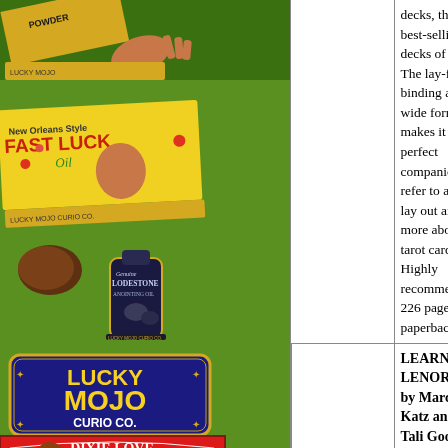[Figure (photo): Lucky Mojo Curio Co. product collage on green background, featuring Fast Luck Oil, Lodestone Anointing Oil, Lucky Mojo Curio Co. logo badge, Dixie Love, and Bath Crystals products]
decks, the two best-selling tarot decks of all time. The lay-flat binding and wide format makes it a perfect companion to refer to as you lay out and learn more about your tarot cards. Highly recommended. 226 pages, paperback.
LEARNING LENORMAND by Marcus Katz and Tali Goodwin Read the Lenormand cards to answer practical questions about romance, career, money, travel, and important life choices. With simple instructions for beginning readers,
[Figure (photo): Book cover for Learning Lenormand]
$16 BOO- LE